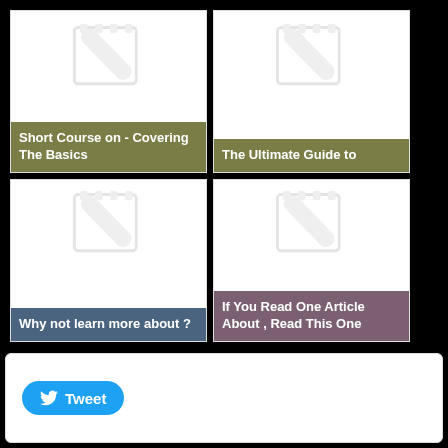[Figure (screenshot): Four course/article card thumbnails in a 2x2 grid on black background. Each card has a notebook icon and a colored label overlay.]
Short Course on - Covering The Basics
The Ultimate Guide to
Why not learn more about ?
If You Read One Article About , Read This One
[Figure (screenshot): Twitter Tweet button widget in a white rounded rectangle box]